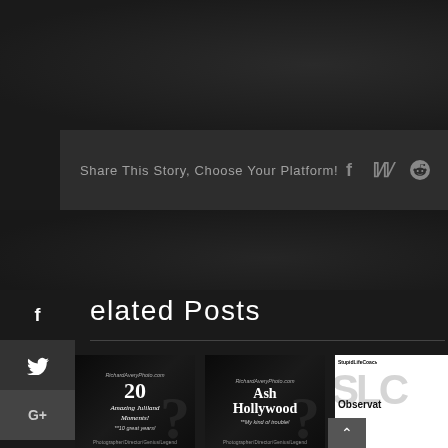Share This Story, Choose Your Platform!
Related Posts
[Figure (screenshot): Post card: RichardAveryPhoto.com - 20 Amazing Juliland Moments! **10 great years! Photographer/Director/Genius/Legend]
[Figure (screenshot): Post card: RichardAveryPhoto.com - Ash Hollywood **My kind of trouble! Photographer/Director/Genius/Legend]
[Figure (screenshot): Post card: StupidLifeCoach - SLC Observat...]